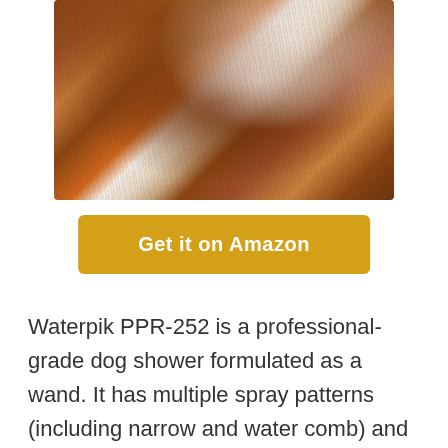[Figure (photo): Close-up photo of a dog with brown and white fur, partially cropped at top of page]
Get it on Amazon
Waterpik PPR-252 is a professional-grade dog shower formulated as a wand. It has multiple spray patterns (including narrow and water comb) and a portable handheld design that is easy to use indoors and outdoors. A long flex hose boosts coverage, while